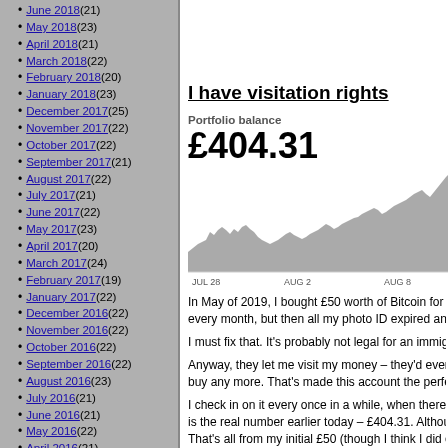June 2018 (21)
May 2018 (23)
April 2018 (21)
March 2018 (22)
February 2018 (20)
January 2018 (23)
December 2017 (25)
November 2017 (22)
October 2017 (22)
September 2017 (21)
August 2017 (22)
July 2017 (21)
June 2017 (22)
May 2017 (23)
April 2017 (20)
March 2017 (24)
February 2017 (19)
January 2017 (22)
December 2016 (22)
November 2016 (22)
October 2016 (22)
September 2016 (22)
August 2016 (23)
July 2016 (21)
June 2016 (21)
May 2016 (22)
April 2016 (21)
March 2016 (23)
February 2016 (21)
January 2016 (21)
December 2015 (19)
November 2015 (21)
October 2015 (23)
September 2015 (23)
August 2015 (21)
July 2015 (23)
June 2015 (22)
May 2015 (22)
April 2015 (23)
March 2015 (22)
February 2015 (20)
I have visitation rights
Portfolio balance
£404.31
[Figure (area-chart): Area chart showing portfolio balance trend from JUL 28 to AUG 8, generally rising with fluctuations, shaded gray area.]
In May of 2019, I bought £50 worth of Bitcoin for a lark every month, but then all my photo ID expired and Coin
I must fix that. It's probably not legal for an immigrant t
Anyway, they let me visit my money – they'd even let m buy any more. That's made this account the perfect wa
I check in on it every once in a while, when there's bee is the real number earlier today – £404.31. Although sh That's all from my initial £50 (though I think I did earn a